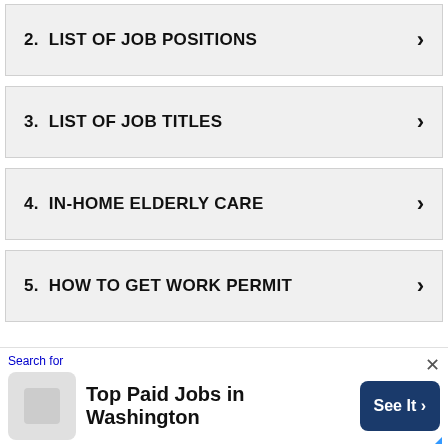2.  LIST OF JOB POSITIONS
3.  LIST OF JOB TITLES
4.  IN-HOME ELDERLY CARE
5.  HOW TO GET WORK PERMIT
Search for
Top Paid Jobs in Washington
See It >